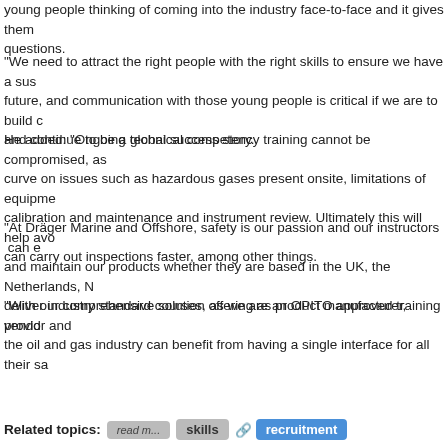young people thinking of coming into the industry face-to-face and it gives them questions.
“We need to attract the right people with the right skills to ensure we have a sus future, and communication with those young people is critical if we are to build c and continue to be a global success story.
He added: "Ongoing technical competency training cannot be compromised, as curve on issues such as hazardous gases present onsite, limitations of equipme calibration and maintenance and instrument review. Ultimately this will help avo can carry out inspections faster, among other things.
"At Dräger Marine and Offshore, safety is our passion and our instructors can e and maintain our products whether they are based in the UK, the Netherlands, N deliver industry standard courses, as we are an OPITO approved training provid
"With our comprehensive solution offering as product manufacturer, vendor and the oil and gas industry can benefit from having a single interface for all their sa
[Figure (screenshot): Cookie Control popup dialog with grey background, showing title 'Cookie Control', text 'This site uses cookies to store information on your computer.', and an 'About this tool' link in orange.]
Related topics: skills recruitment